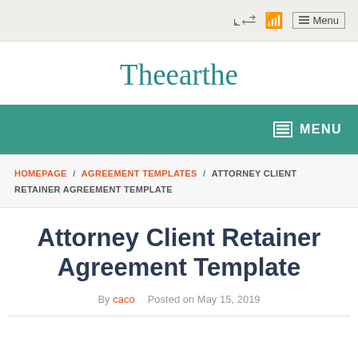☰ Menu
Theearthe
☰ MENU
HOMEPAGE / AGREEMENT TEMPLATES / ATTORNEY CLIENT RETAINER AGREEMENT TEMPLATE
Attorney Client Retainer Agreement Template
By caco   Posted on May 15, 2019